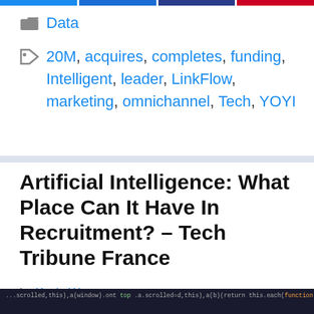[Figure (other): Top navigation bar with four colored segments: blue, dark blue, dark navy, red]
Data
20M, acquires, completes, funding, Intelligent, leader, LinkFlow, marketing, omnichannel, Tech, YOYI
Artificial Intelligence: What Place Can It Have In Recruitment? – Tech Tribune France
by Kevin Wert
[Figure (screenshot): Code snippet strip at the bottom showing JavaScript code with TRANSITION_DURATION=150 and other code fragments]